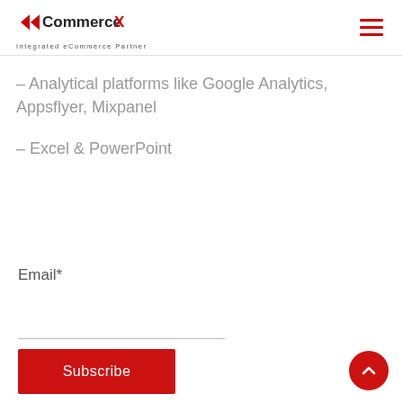CommerceX – Integrated eCommerce Partner
– Analytical platforms like Google Analytics, Appsflyer, Mixpanel
– Excel & PowerPoint
Email*
Subscribe